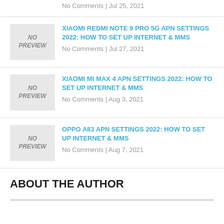No Comments | Jul 25, 2021
[Figure (other): NO PREVIEW placeholder thumbnail]
XIAOMI REDMI NOTE 9 PRO 5G APN SETTINGS 2022: HOW TO SET UP INTERNET & MMS
No Comments | Jul 27, 2021
[Figure (other): NO PREVIEW placeholder thumbnail]
XIAOMI MI MAX 4 APN SETTINGS 2022: HOW TO SET UP INTERNET & MMS
No Comments | Aug 3, 2021
[Figure (other): NO PREVIEW placeholder thumbnail]
OPPO A83 APN SETTINGS 2022: HOW TO SET UP INTERNET & MMS
No Comments | Aug 7, 2021
ABOUT THE AUTHOR